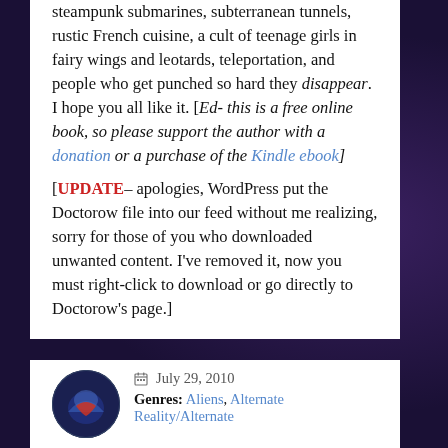steampunk submarines, subterranean tunnels, rustic French cuisine, a cult of teenage girls in fairy wings and leotards, teleportation, and people who get punched so hard they disappear. I hope you all like it. [Ed- this is a free online book, so please support the author with a donation or a purchase of the Kindle ebook]
[UPDATE– apologies, WordPress put the Doctorow file into our feed without me realizing, sorry for those of you who downloaded unwanted content. I've removed it, now you must right-click to download or go directly to Doctorow's page.]
July 29, 2010
Genres: Aliens, Alternate Reality/Alternate